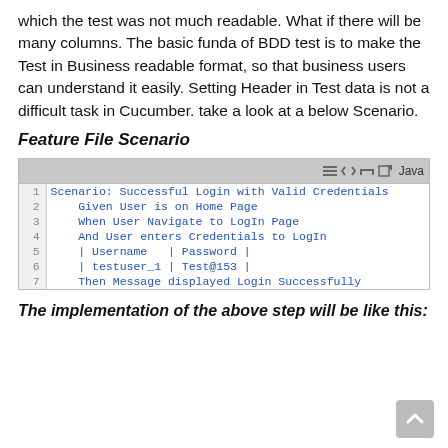which the test was not much readable. What if there will be many columns. The basic funda of BDD test is to make the Test in Business readable format, so that business users can understand it easily. Setting Header in Test data is not a difficult task in Cucumber. take a look at a below Scenario.
Feature File Scenario
[Figure (screenshot): Code editor screenshot showing a Cucumber feature file scenario with 7 lines. Lines: 1: Scenario: Successful Login with Valid Credentials, 2: Given User is on Home Page, 3: When User Navigate to LogIn Page, 4: And User enters Credentials to LogIn, 5: | Username | Password |, 6: | testuser_1 | Test@153 |, 7: Then Message displayed Login Successfully. Toolbar shows Java label.]
The implementation of the above step will be like this: